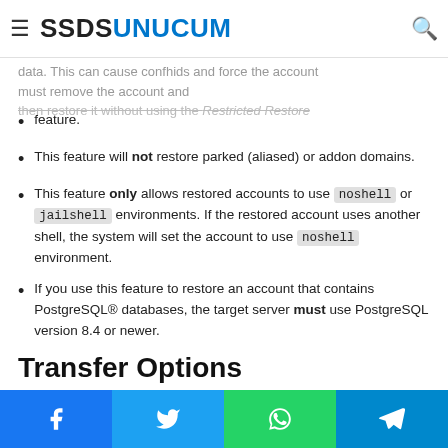SSDSUNUCUM
data. This can cause confhids and force the account must remove the account and then restore it without using the Restricted Restore feature.
This feature will not restore parked (aliased) or addon domains.
This feature only allows restored accounts to use noshell or jailshell environments. If the restored account uses another shell, the system will set the account to use noshell environment.
If you use this feature to restore an account that contains PostgreSQL® databases, the target server must use PostgreSQL version 8.4 or newer.
Transfer Options